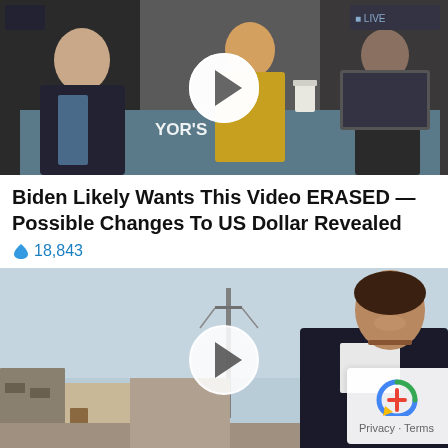[Figure (screenshot): Video thumbnail showing people seated at a table in what appears to be a TV studio setting with a play button overlay and 'YOR?' text visible]
Biden Likely Wants This Video ERASED — Possible Changes To US Dollar Revealed
🔥 18,843
[Figure (screenshot): Video thumbnail showing a woman smiling outdoors in front of buildings with a play button overlay. A Privacy - Terms badge appears in bottom right corner.]